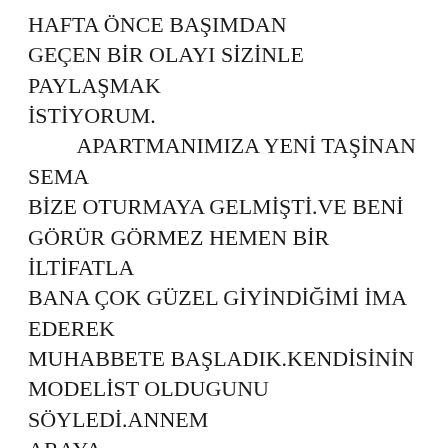HAFTA ÖNCE BAŞIMDAN GEÇEN BİR OLAYI SİZİNLE PAYLAŞMAK İSTİYORUM. APARTMANIMIZA YENİ TAŞİNAN SEMA BİZE OTURMAYA GELMİŞTİ.VE BENİ GÖRÜR GÖRMEZ HEMEN BİR İLTİFATLA BANA ÇOK GÜZEL GİYİNDİĞİMİ İMA EDEREK MUHABBETE BAŞLADIK.KENDİSİNİN MODELİST OLDUGUNU SÖYLEDİ.ANNEM ARAYA GİRDİGİ İÇİN ÇOK MUHABBET EDEMEMİYORDOK.AMA GÖZLERİMİ ONDAN ALAMIYORDUM.ODA BANA İNAT ÖYLE BİR OTURUYORDUKİ HER TARAFI MEYDANDAYDİ.VE ARTİK BEN KALKIYİM DEYİP TOURDUĞU YERDEN HAMLE YAPICA İÇİNDEKİ TANGAYİ BİLE GÖSTEREREK